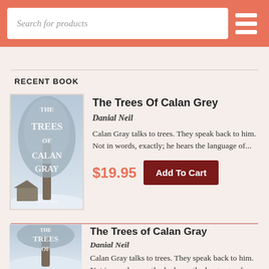Search for products
RECENT BOOK
[Figure (illustration): Book cover of The Trees Of Calan Grey by Danial Neil — winter tree scene with white text overlay]
The Trees Of Calan Grey
Danial Neil
Calan Gray talks to trees. They speak back to him. Not in words, exactly; he hears the language of...
$19.95
Add To Cart
[Figure (illustration): Book cover of The Trees of Calan Gray by Danial Neil — winter tree scene with white text overlay (partial)]
The Trees of Calan Gray
Danial Neil
Calan Gray talks to trees. They speak back to him. Not in words, exactly; he hears the language of